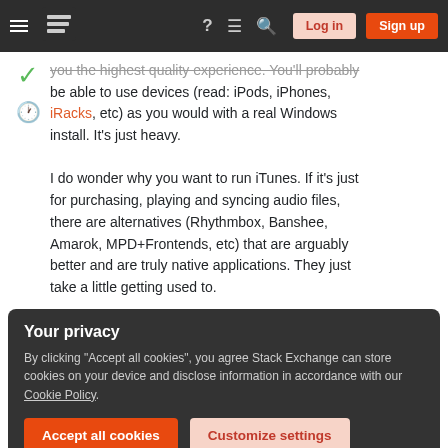Stack Exchange navigation bar with Log in and Sign up buttons
you the highest quality experience. You'll probably be able to use devices (read: iPods, iPhones, iRacks, etc) as you would with a real Windows install. It's just heavy.

I do wonder why you want to run iTunes. If it's just for purchasing, playing and syncing audio files, there are alternatives (Rhythmbox, Banshee, Amarok, MPD+Frontends, etc) that are arguably better and are truly native applications. They just take a little getting used to.
Your privacy
By clicking "Accept all cookies", you agree Stack Exchange can store cookies on your device and disclose information in accordance with our Cookie Policy.
single thing with a brand new iPad without iTunes. So